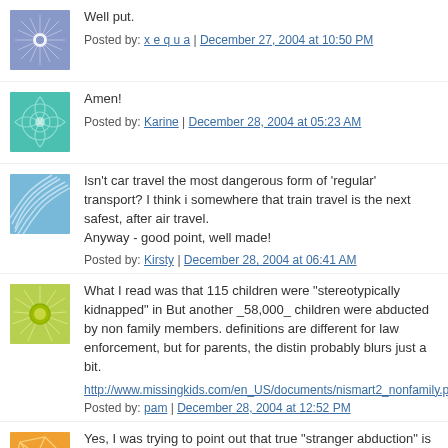[Figure (illustration): Blue/purple geometric snowflake avatar icon]
Well put.
Posted by: x e q u a | December 27, 2004 at 10:50 PM
[Figure (illustration): Teal/green geometric swirl avatar icon]
Amen!
Posted by: Karine | December 28, 2004 at 05:23 AM
[Figure (illustration): Blue striped fan/shell avatar icon]
Isn't car travel the most dangerous form of 'regular' transport? I think i somewhere that train travel is the next safest, after air travel. Anyway - good point, well made!
Posted by: Kirsty | December 28, 2004 at 06:41 AM
[Figure (illustration): Green sunflower/starburst avatar icon]
What I read was that 115 children were "stereotypically kidnapped" in But another _58,000_ children were abducted by non family members. definitions are different for law enforcement, but for parents, the distin probably blurs just a bit.
http://www.missingkids.com/en_US/documents/nismart2_nonfamily.p
Posted by: pam | December 28, 2004 at 12:52 PM
[Figure (illustration): Orange geometric triangles/lines avatar icon]
Yes, I was trying to point out that true "stranger abduction" is relativel